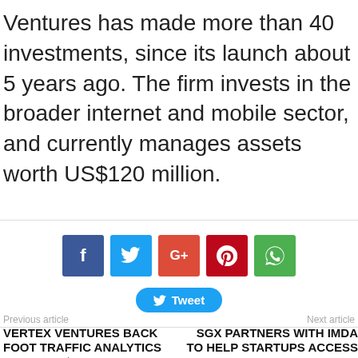Ventures has made more than 40 investments, since its launch about 5 years ago. The firm invests in the broader internet and mobile sector, and currently manages assets worth US$120 million.
[Figure (infographic): Social share buttons: Facebook, Twitter, Google+, Pinterest, WhatsApp, and a Tweet button]
Previous article
Next article
VERTEX VENTURES BACK FOOT TRAFFIC ANALYTICS DOR IN US$3.8 MILLION SEED ROUND TO BOOST ITS FOOT TRAFFIC SENSOR TECH
SGX PARTNERS WITH IMDA TO HELP STARTUPS ACCESS CAPITAL MARKETS